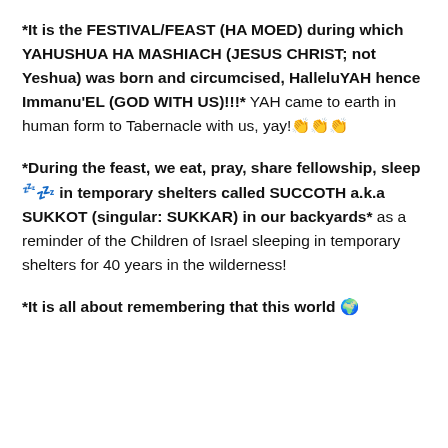*It is the FESTIVAL/FEAST (HA MOED) during which YAHUSHUA HA MASHIACH (JESUS CHRIST; not Yeshua) was born and circumcised, HalleluYAH hence Immanu'EL (GOD WITH US)!!!* YAH came to earth in human form to Tabernacle with us, yay!👏👏👏
*During the feast, we eat, pray, share fellowship, sleep 💤 in temporary shelters called SUCCOTH a.k.a SUKKOT (singular: SUKKAR) in our backyards* as a reminder of the Children of Israel sleeping in temporary shelters for 40 years in the wilderness!
*It is all about remembering that this world 🌍